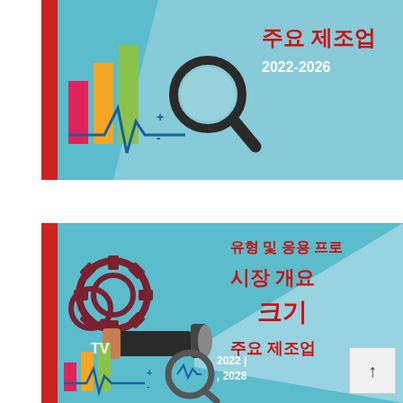[Figure (infographic): Top banner with teal background, red sidebar, chart icons, magnifying glass, heartbeat line, and Korean text '주요 제조업' with year '2022-2026' in white]
[Figure (infographic): Bottom banner with teal background, red sidebar, gear/magnifying glass illustration, flashlight beam, bar chart icons, and Korean text '유형 및 응용 프로그램별 시장 개요 크기 주요 제조업체' with years '2022 | 2028' and 'TV' label]